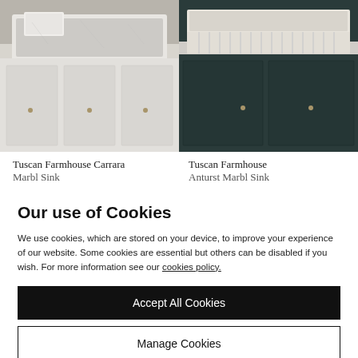[Figure (photo): Two product photos side by side: left shows a white farmhouse Carrara marble sink with white cabinet below, right shows a similar farmhouse sink with dark navy/teal cabinet below]
Tuscan Farmhouse Carrara Marbl Sink
Tuscan Farmhouse Anturst Marbl Sink
Our use of Cookies
We use cookies, which are stored on your device, to improve your experience of our website. Some cookies are essential but others can be disabled if you wish. For more information see our cookies policy.
Accept All Cookies
Manage Cookies